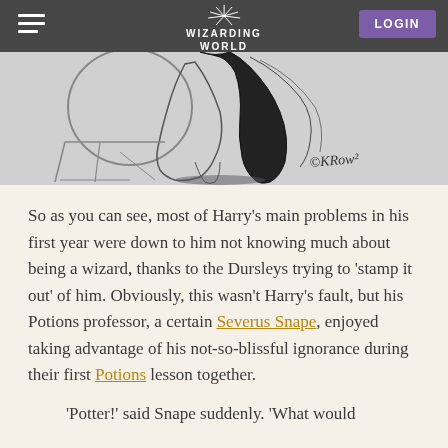WIZARDING WORLD | LOGIN
[Figure (illustration): Pencil sketch illustration of a figure with flowing dark hair/cloak, drawn in a loose sketchy style with a signature in the lower right. Shown against a grey background.]
So as you can see, most of Harry's main problems in his first year were down to him not knowing much about being a wizard, thanks to the Dursleys trying to 'stamp it out' of him. Obviously, this wasn't Harry's fault, but his Potions professor, a certain Severus Snape, enjoyed taking advantage of his not-so-blissful ignorance during their first Potions lesson together.
'Potter!' said Snape suddenly. 'What would